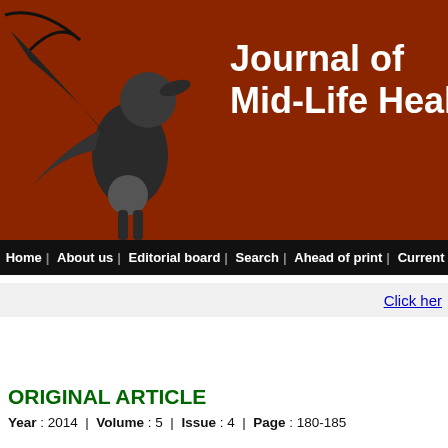[Figure (logo): Journal of Mid-Life Health banner with a stylized figure logo on dark red background]
Home | About us | Editorial board | Search | Ahead of print | Current Issue | Past I
Click her
ORIGINAL ARTICLE
Year : 2014 | Volume : 5 | Issue : 4 | Page : 180-185